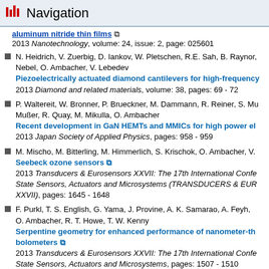Navigation
aluminum nitride thin films
2013 Nanotechnology, volume: 24, issue: 2, page: 025601
N. Heidrich, V. Zuerbig, D. Iankov, W. Pletschen, R.E. Sah, B. Raynor, Nebel, O. Ambacher, V. Lebedev
Piezoelectrically actuated diamond cantilevers for high-frequency
2013 Diamond and related materials, volume: 38, pages: 69 - 72
P. Waltereit, W. Bronner, P. Brueckner, M. Dammann, R. Reiner, S. Mußer, R. Quay, M. Mikulla, O. Ambacher
Recent development in GaN HEMTs and MMICs for high power el
2013 Japan Society of Applied Physics, pages: 958 - 959
M. Mischo, M. Bitterling, M. Himmerlich, S. Krischok, O. Ambacher, V.
Seebeck ozone sensors
2013 Transducers & Eurosensors XXVII: The 17th International Conference on Solid State Sensors, Actuators and Microsystems (TRANSDUCERS & EUROSENSORS XXVII), pages: 1645 - 1648
F. Purkl, T. S. English, G. Yama, J. Provine, A. K. Samarao, A. Feyh, O. Ambacher, R. T. Howe, T. W. Kenny
Serpentine geometry for enhanced performance of nanometer-th bolometers
2013 Transducers & Eurosensors XXVII: The 17th International Conference on Solid State Sensors, Actuators and Microsystems, pages: 1507 - 1510
U.J. Lewark, A. Tessmann, A. Leuther, T. Zwick, O. Ambacher, I. Kallfass
Signal generation and amplification up to 600 GHz using metamorphic technology
2013 European Microwave Integrated Circuit Conference, pages: 125